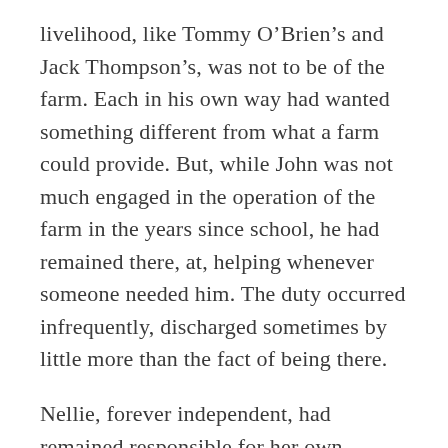livelihood, like Tommy O'Brien's and Jack Thompson's, was not to be of the farm. Each in his own way had wanted something different from what a farm could provide. But, while John was not much engaged in the operation of the farm in the years since school, he had remained there, at, helping whenever someone needed him. The duty occurred infrequently, discharged sometimes by little more than the fact of being there.
Nellie, forever independent, had remained responsible for her own welfare to the end. To be that comfort and counsel had meant being near at hand. Several times during his years with GE my father passed up transfers to other cities that would have advanced his career, in order to remain near Kate and Nellie. The last such opportunity occurred just after Nellie's death, when GE moved his department